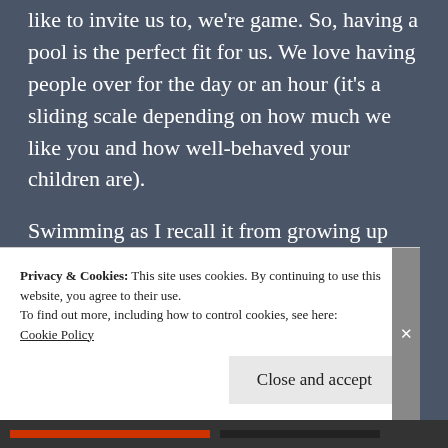like to invite us to, we're game. So, having a pool is the perfect fit for us. We love having people over for the day or an hour (it's a sliding scale depending on how much we like you and how well-behaved your children are).
Swimming as I recall it from growing up was fun and almost limitless. You throw on a bathing suit, run out back and jump right in. Take a few warm up breaks, eat some chips or Rice Krispie squares, maybe go on the swing set
Privacy & Cookies: This site uses cookies. By continuing to use this website, you agree to their use.
To find out more, including how to control cookies, see here:
Cookie Policy
Close and accept